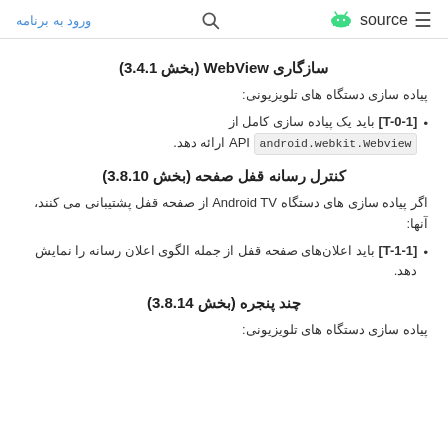ورود به برنامه  🔍  🤖 source  ≡
سازگاری WebView (بخش 3.4.1)
پیاده سازی دستگاه های تلویزیونی:
[T-0-1] باید یک پیاده سازی کامل از android.webkit.Webview API ارائه دهد.
کنترل رسانه قفل صفحه (بخش 3.8.10)
اگر پیاده سازی های دستگاه Android TV از صفحه قفل پشتیبانی می کنند، آنها:
[T-1-1] باید اعلان‌های صفحه قفل از جمله الگوی اعلان رسانه را نمایش دهد.
چند پنجره (بخش 3.8.14)
پیاده سازی دستگاه های تلویزیونی: